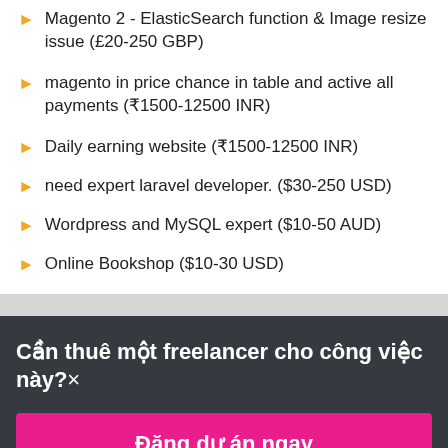Magento 2 - ElasticSearch function & Image resize issue (£20-250 GBP)
magento in price chance in table and active all payments (₹1500-12500 INR)
Daily earning website (₹1500-12500 INR)
need expert laravel developer. ($30-250 USD)
Wordpress and MySQL expert ($10-50 AUD)
Online Bookshop ($10-30 USD)
Cần thuê một freelancer cho công việc này? ×
Đăng dự án ngay